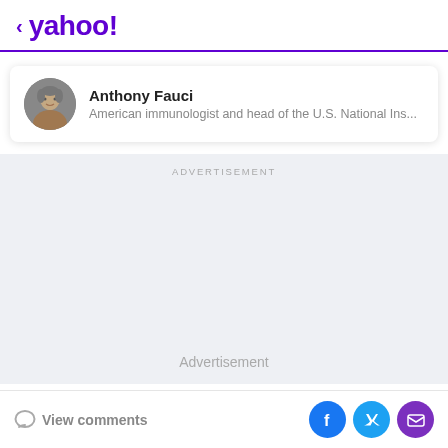< yahoo!
Anthony Fauci — American immunologist and head of the U.S. National Ins...
ADVERTISEMENT
Advertisement
View comments